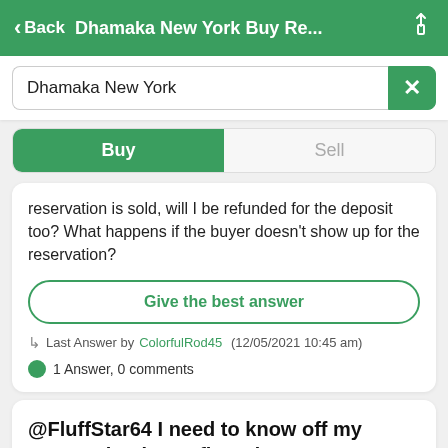< Back   Dhamaka New York Buy Re...
Dhamaka New York
Buy   Sell
reservation is sold, will I be refunded for the deposit too? What happens if the buyer doesn't show up for the reservation?
Give the best answer
Last Answer by ColorfulRod45 (12/05/2021 10:45 am)
1 Answer, 0 comments
@FluffStar64 I need to know off my reservation is confirmed
Question from CompetentDistance51 (12/04/2021 9:31 am)